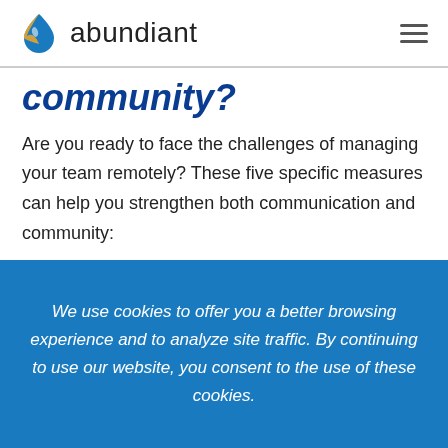abundiant
community?
Are you ready to face the challenges of managing your team remotely? These five specific measures can help you strengthen both communication and community:
1. Be transparent
We use cookies to offer you a better browsing experience and to analyze site traffic. By continuing to use our website, you consent to the use of these cookies.